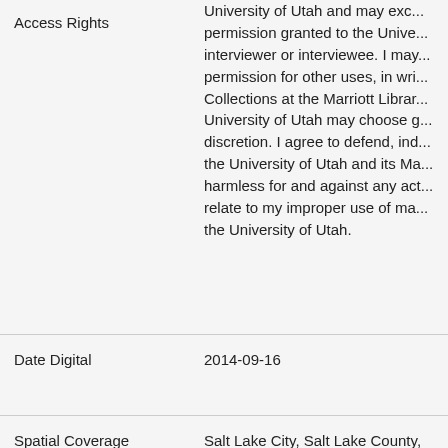Access Rights
University of Utah and may exc... permission granted to the Unive... interviewer or interviewee. I may... permission for other uses, in wri... Collections at the Marriott Librar... University of Utah may choose g... discretion. I agree to defend, ind... the University of Utah and its Ma... harmless for and against any act... relate to my improper use of ma... the University of Utah.
Date Digital
2014-09-16
Spatial Coverage
Salt Lake City, Salt Lake County, http://sws.geonames.org/57809
Subject
Fisher, Albert L., 1925- --Intervie... Utah--Faculty--Biography; Geogr...